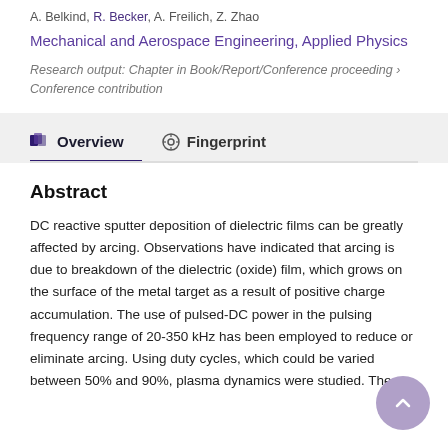A. Belkind, R. Becker, A. Freilich, Z. Zhao
Mechanical and Aerospace Engineering, Applied Physics
Research output: Chapter in Book/Report/Conference proceeding › Conference contribution
Overview
Fingerprint
Abstract
DC reactive sputter deposition of dielectric films can be greatly affected by arcing. Observations have indicated that arcing is due to breakdown of the dielectric (oxide) film, which grows on the surface of the metal target as a result of positive charge accumulation. The use of pulsed-DC power in the pulsing frequency range of 20-350 kHz has been employed to reduce or eliminate arcing. Using duty cycles, which could be varied between 50% and 90%, plasma dynamics were studied. The